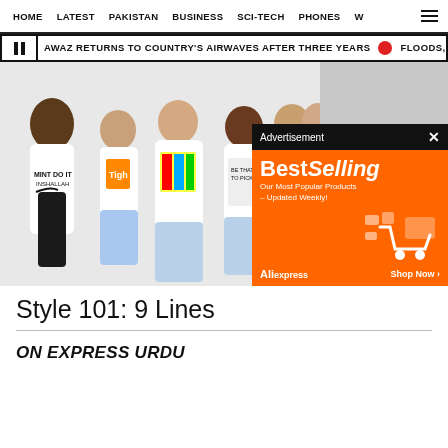HOME   LATEST   PAKISTAN   BUSINESS   SCI-TECH   PHONES   W
AWAZ RETURNS TO COUNTRY'S AIRWAVES AFTER THREE YEARS   FLOODS, RAINS
[Figure (photo): Group of six young models wearing graphic white t-shirts with parody brand logos including Nike 'Mint Do It Inshallah', Tide 'Tight', Pepsi parody, posing against a white background]
[Figure (infographic): Advertisement overlay with dark header reading 'Advertisement' and orange AliExpress Best Selling ad banner with shopping cart illustration]
Style 101: 9 Lines
ON EXPRESS URDU